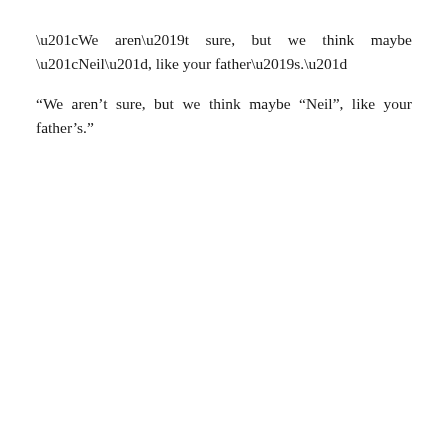“We aren’t sure, but we think maybe “Neil”, like your father’s.”
“Are those Grandpa’s dog tags?”
“Yes, “David N. Davidson”, like you.”
He stared and stared at the few photographs of the Davidsons holding their baby. “I feel so sad. No wonder you wanted to wait ‘til the right time to tell me. This is….. difficult, isn’t it”………..
“Yes, for all of us, dear.”
“And look at this, Davey, they awarded your father this for his heroism during the war. It is a Distinguished Service Cross awarded for valor in combat. He told me that he had saved several families in the French Resistance all on his own while he was badly outnumbered.” He handed it to Davey, who immediately began to think his noble deeds were now